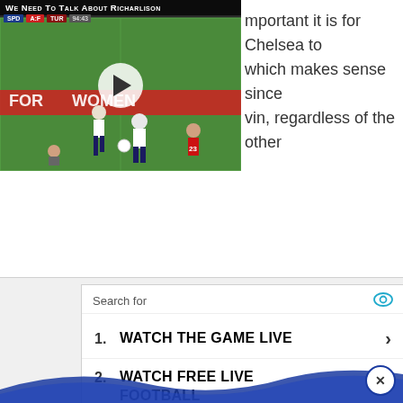[Figure (screenshot): Video thumbnail of football/soccer match with title 'We Need To Talk About Richarlison', showing players on a green pitch with score overlay and play button]
mportant it is for Chelsea to which makes sense since vin, regardless of the other
[Figure (infographic): Advertisement box with 'Search for' header and eye icon, listing three items: 1. WATCH THE GAME LIVE, 2. WATCH FREE LIVE FOOTBALL, 3. FIND A GRAVE BY NAME, with Glocal Search footer]
[Figure (illustration): Blue wave decoration at bottom of page with circular close (X) button]